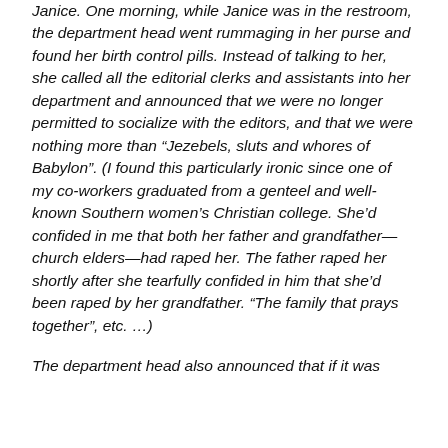Janice. One morning, while Janice was in the restroom, the department head went rummaging in her purse and found her birth control pills. Instead of talking to her, she called all the editorial clerks and assistants into her department and announced that we were no longer permitted to socialize with the editors, and that we were nothing more than “Jezebels, sluts and whores of Babylon”. (I found this particularly ironic since one of my co-workers graduated from a genteel and well-known Southern women’s Christian college. She’d confided in me that both her father and grandfather—church elders—had raped her. The father raped her shortly after she tearfully confided in him that she’d been raped by her grandfather. “The family that prays together”, etc. …)
The department head also announced that if it was